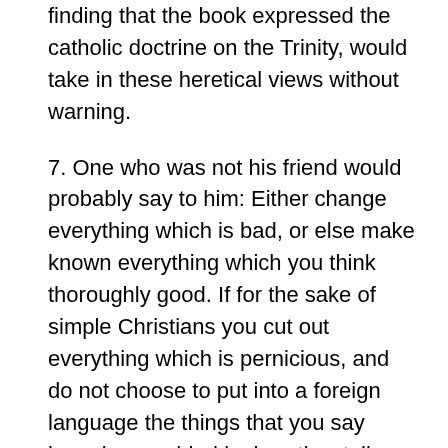finding that the book expressed the catholic doctrine on the Trinity, would take in these heretical views without warning.
7. One who was not his friend would probably say to him: Either change everything which is bad, or else make known everything which you think thoroughly good. If for the sake of simple Christians you cut out everything which is pernicious, and do not choose to put into a foreign language the things that you say have been added by heretics; tell us everything which is pernicious. But, if